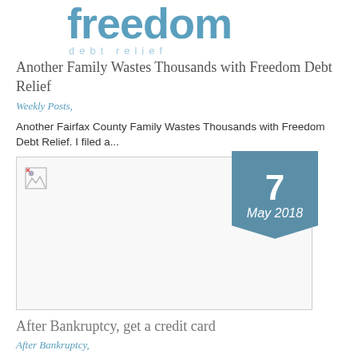[Figure (logo): Freedom Debt Relief logo — stylized blue 'freedom' wordmark with tagline below]
Another Family Wastes Thousands with Freedom Debt Relief
Weekly Posts,
Another Fairfax County Family Wastes Thousands with Freedom Debt Relief. I filed a...
[Figure (photo): Article thumbnail image with a date badge showing '7 May 2018' in a teal speech-bubble shape]
After Bankruptcy, get a credit card
After Bankruptcy,
After bankruptcy, get a credit card. Get a couple. Getting